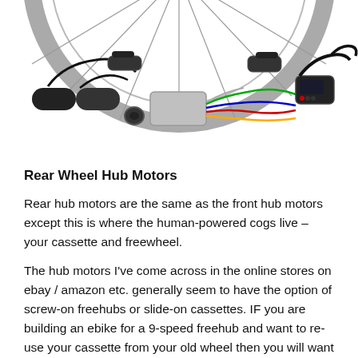[Figure (photo): E-bike conversion kit components laid out on white background: bicycle wheel at top, handlebar grips, cables, controller box, brake levers, throttle, display unit, and other accessories.]
Rear Wheel Hub Motors
Rear hub motors are the same as the front hub motors except this is where the human-powered cogs live – your cassette and freewheel.
The hub motors I've come across in the online stores on ebay / amazon etc. generally seem to have the option of screw-on freehubs or slide-on cassettes. IF you are building an ebike for a 9-speed freehub and want to re-use your cassette from your old wheel then you will want the slide-on cassette type instead of a screw on freehub, but this is academic as you can also get the screw-on cassettes with the right number of gears too